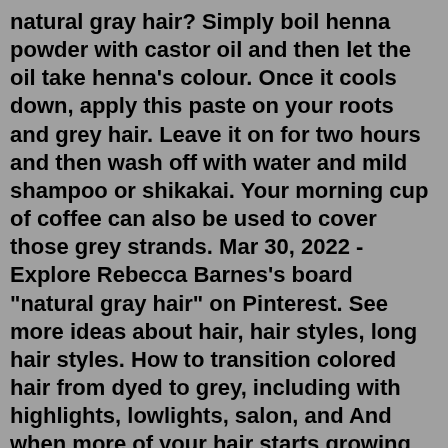natural gray hair? Simply boil henna powder with castor oil and then let the oil take henna's colour. Once it cools down, apply this paste on your roots and grey hair. Leave it on for two hours and then wash off with water and mild shampoo or shikakai. Your morning cup of coffee can also be used to cover those grey strands. Mar 30, 2022 - Explore Rebecca Barnes's board "natural gray hair" on Pinterest. See more ideas about hair, hair styles, long hair styles. How to transition colored hair from dyed to grey, including with highlights, lowlights, salon, and And when more of your hair starts growing gray, you may start to notice a demarcation line in larger "My roots grew about an inch, and I started noticing the salt-and-pepper pattern of my natural hair and...1. Tailored haircare for colored hair. Your first step is to start using a shampoo and conditioner designed specifically for colored hair. We recommend the Lumino Contrast collection by Serie Expert, which also includes a serum and a spray. If you've gone